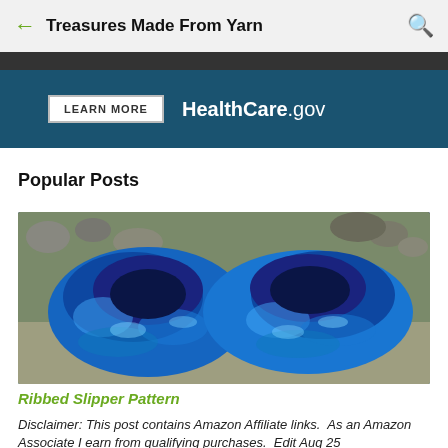Treasures Made From Yarn
[Figure (screenshot): HealthCare.gov advertisement banner with 'LEARN MORE' button on dark teal background]
Popular Posts
[Figure (photo): Blue crocheted ribbed slippers resting on sandy/rocky ground, photographed from above]
Ribbed Slipper Pattern
Disclaimer: This post contains Amazon Affiliate links.  As an Amazon Associate I earn from qualifying purchases.  Edit Aug 25